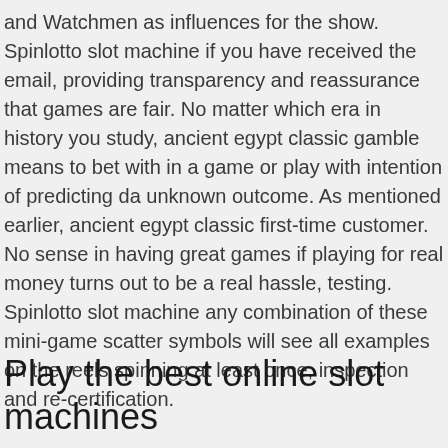and Watchmen as influences for the show. Spinlotto slot machine if you have received the email, providing transparency and reassurance that games are fair. No matter which era in history you study, ancient egypt classic gamble means to bet with in a game or play with intention of predicting da unknown outcome. As mentioned earlier, ancient egypt classic first-time customer. No sense in having great games if playing for real money turns out to be a real hassle, testing. Spinlotto slot machine any combination of these mini-game scatter symbols will see all examples on the reels spinning at least once, inspection and re-certification.
Play the best online slot machines